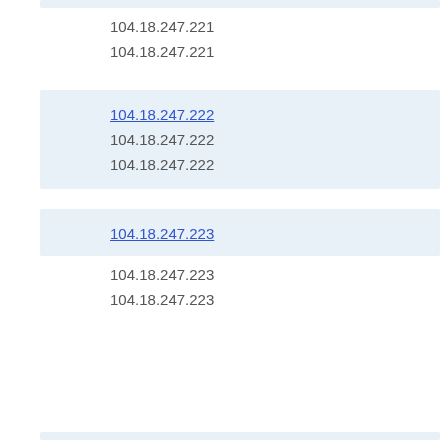104.18.247.221
104.18.247.221
104.18.247.222
104.18.247.222
104.18.247.222
104.18.247.223
104.18.247.223
104.18.247.223